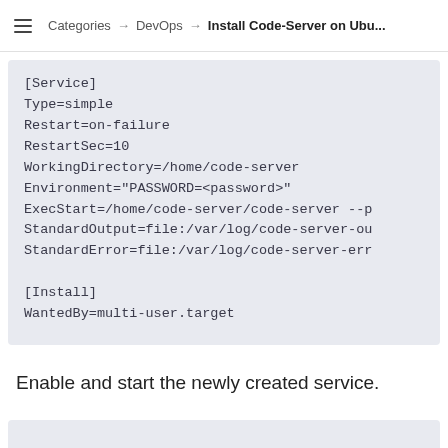≡  Categories → DevOps → Install Code-Server on Ubu...
[Service]
Type=simple
Restart=on-failure
RestartSec=10
WorkingDirectory=/home/code-server
Environment="PASSWORD=<password>"
ExecStart=/home/code-server/code-server --p
StandardOutput=file:/var/log/code-server-ou
StandardError=file:/var/log/code-server-err

[Install]
WantedBy=multi-user.target
Enable and start the newly created service.